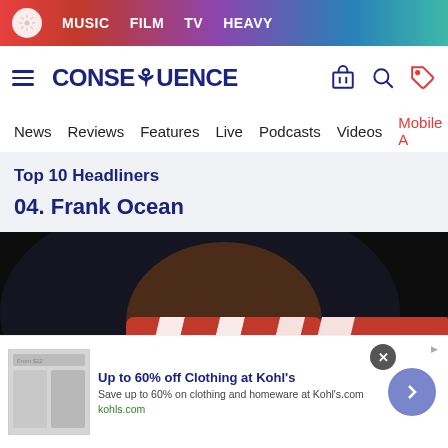MUSIC  FILM  TV  HEAVY
CONSEQUENCE
News  Reviews  Features  Live  Podcasts  Videos  Mobile A
Top 10 Headliners
04. Frank Ocean
[Figure (photo): Close-up of Frank Ocean wearing sunglasses and a red and white patterned headband against a dark background]
[Figure (infographic): Advertisement banner: Up to 60% off Clothing at Kohl's. Save up to 60% on clothing and homeware at Kohl's.com. kohls.com]